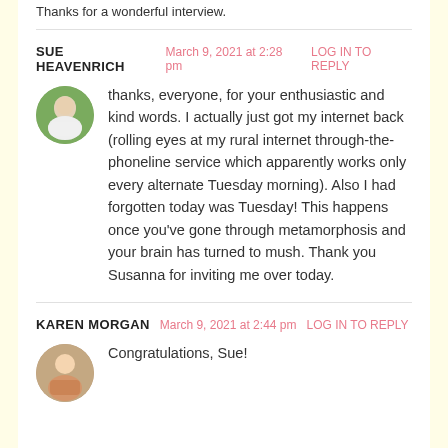Thanks for a wonderful interview.
SUE HEAVENRICH  March 9, 2021 at 2:28 pm  LOG IN TO REPLY
thanks, everyone, for your enthusiastic and kind words. I actually just got my internet back (rolling eyes at my rural internet through-the-phoneline service which apparently works only every alternate Tuesday morning). Also I had forgotten today was Tuesday! This happens once you've gone through metamorphosis and your brain has turned to mush. Thank you Susanna for inviting me over today.
KAREN MORGAN  March 9, 2021 at 2:44 pm  LOG IN TO REPLY
Congratulations, Sue!